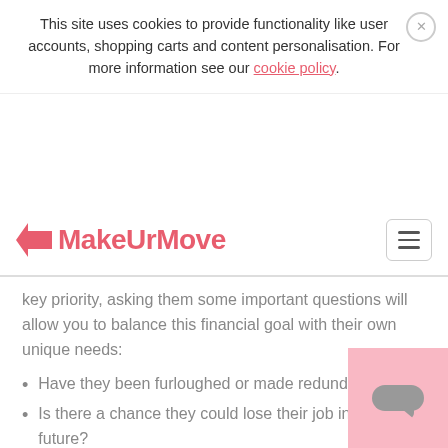This site uses cookies to provide functionality like user accounts, shopping carts and content personalisation. For more information see our cookie policy.
[Figure (logo): MakeUrMove logo with arrow icon in pink/red color]
key priority, asking them some important questions will allow you to balance this financial goal with their own unique needs:
Have they been furloughed or made redundant?
Is there a chance they could lose their job in the near future?
How will this affect their ability to pay rent on time?
Are they already struggling to pay you?
Are they physically well or do they suspect they have Covid-19?
Are they self-isolating?
Are they feeling stressed, anxious or worried?